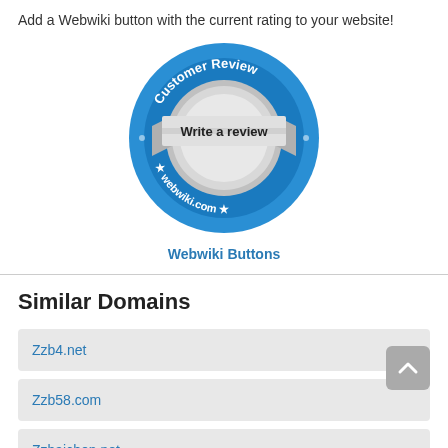Add a Webwiki button with the current rating to your website!
[Figure (logo): Webwiki Customer Review badge — circular blue badge with 'Customer Review' text at top, a silver banner reading 'Write a review' in the center, a circular silver button, and 'webwiki.com' with stars at the bottom]
Webwiki Buttons
Similar Domains
Zzb4.net
Zzb58.com
Zzbaichen.net
Zzbaitong.net